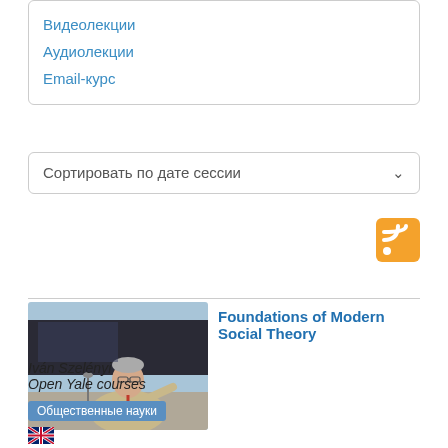Видеолекции
Аудиолекции
Email-курс
Сортировать по дате сессии
[Figure (logo): RSS feed icon, orange square with white wifi-style signal waves]
[Figure (photo): Photo of a male professor speaking at a lecture, wearing a beige jacket, gesturing with right hand, microphone stand visible]
Foundations of Modern Social Theory
Iván Szelényi
Open Yale courses
Общественные науки
[Figure (illustration): UK flag (Union Jack) small icon]
Курс добавлен: давно
This course provides an overview of major works of social thought from the beginning of the modern era through the 1920s. Attention is paid to social and intellectual contexts, conceptual frameworks and methods, and contributions to